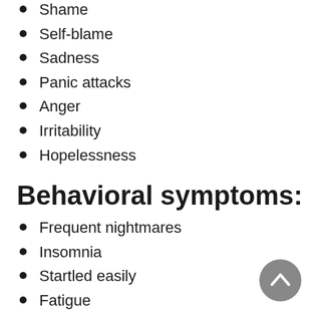Shame
Self-blame
Sadness
Panic attacks
Anger
Irritability
Hopelessness
Behavioral symptoms:
Frequent nightmares
Insomnia
Startled easily
Fatigue